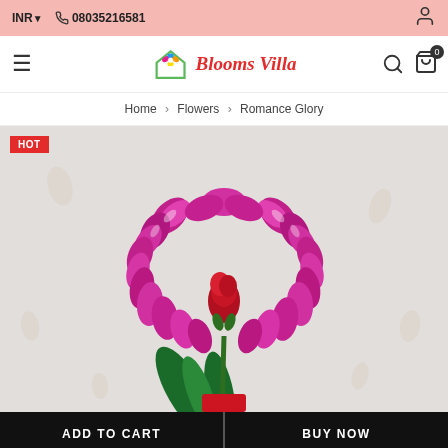INR  08035216581
[Figure (logo): Blooms Villa logo with colorful flower/house icon and red italic text 'Blooms Villa']
Home › Flowers › Romance Glory
[Figure (photo): Product photo of Romance Glory flower arrangement: a heart-shaped wreath of purple orchids with a red rose in the center, on a light grey floral background. HOT badge in top-left corner.]
ADD TO CART
BUY NOW